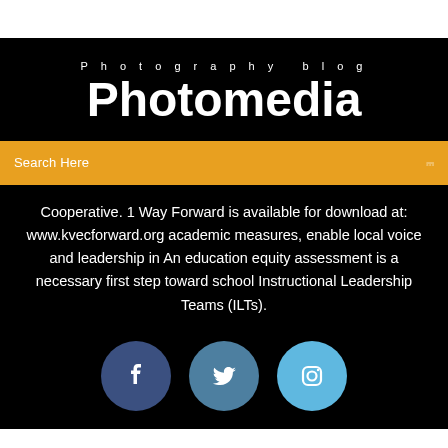Photography blog
Photomedia
Search Here
Cooperative. 1 Way Forward is available for download at: www.kvecforward.org academic measures, enable local voice and leadership in An education equity assessment is a necessary first step toward school Instructional Leadership Teams (ILTs).
[Figure (illustration): Three social media icon buttons: Facebook (dark blue circle with f), Twitter (medium blue circle with bird icon), Instagram (light blue circle with camera icon)]